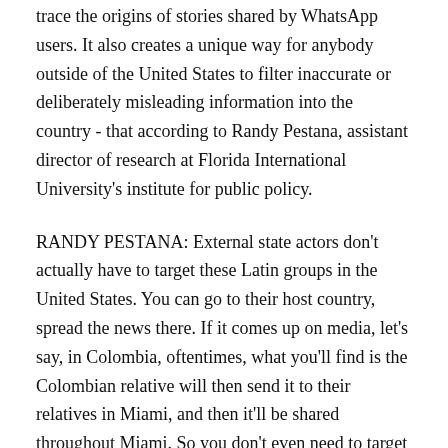trace the origins of stories shared by WhatsApp users. It also creates a unique way for anybody outside of the United States to filter inaccurate or deliberately misleading information into the country - that according to Randy Pestana, assistant director of research at Florida International University's institute for public policy.
RANDY PESTANA: External state actors don't actually have to target these Latin groups in the United States. You can go to their host country, spread the news there. If it comes up on media, let's say, in Colombia, oftentimes, what you'll find is the Colombian relative will then send it to their relatives in Miami, and then it'll be shared throughout Miami. So you don't even need to target the United States. You can target another country.
MARTIN: But there are efforts to fight the spread of online